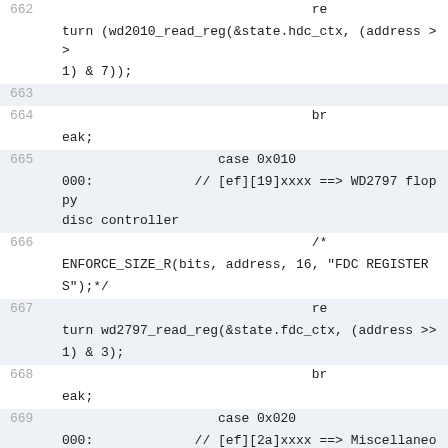return (wd2010_read_reg(&state.hdc_ctx, (address >> 1) & 7));
663
664 break;
665 case 0x010000:             // [ef][19]xxxx ==> WD2797 floppy disc controller
666 /* ENFORCE_SIZE_R(bits, address, 16, "FDC REGISTERS");*/
667 return wd2797_read_reg(&state.fdc_ctx, (address >> 1) & 3);
668 break;
669 case 0x020000:             // [ef][2a]xxxx ==> Miscellaneous Control Register 2
670 break;
671 case 0x030000:
000:             // [ef][2b]xxxx ==> Real Time Clo...